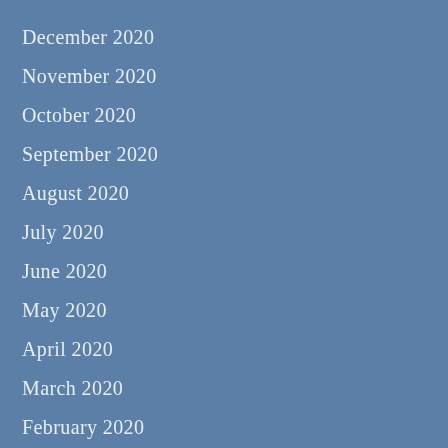December 2020
November 2020
October 2020
September 2020
August 2020
July 2020
June 2020
May 2020
April 2020
March 2020
February 2020
January 2020
December 2019
November 2019
October 2019
September 2019